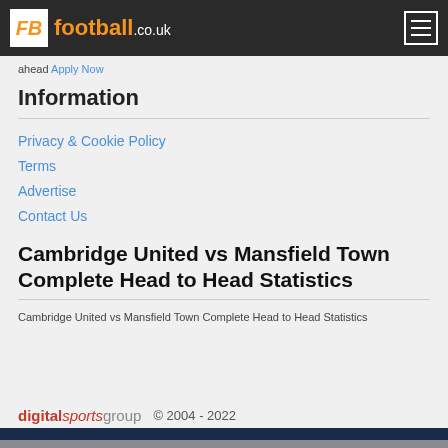football.co.uk
ahead Apply Now
Information
Privacy & Cookie Policy
Terms
Advertise
Contact Us
Cambridge United vs Mansfield Town Complete Head to Head Statistics
Cambridge United vs Mansfield Town Complete Head to Head Statistics
digitalsportsgroup © 2004 - 2022